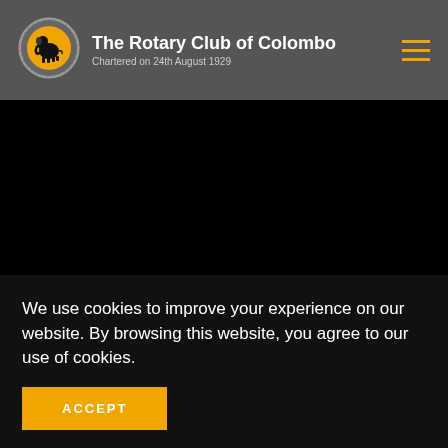The Rotary Club of Colombo — Chartered on 24th August 1929
[Figure (logo): Rotary Club of Colombo circular logo with gear border and yellow circle with black elephant silhouette]
We use cookies to improve your experience on our website. By browsing this website, you agree to our use of cookies.
ACCEPT